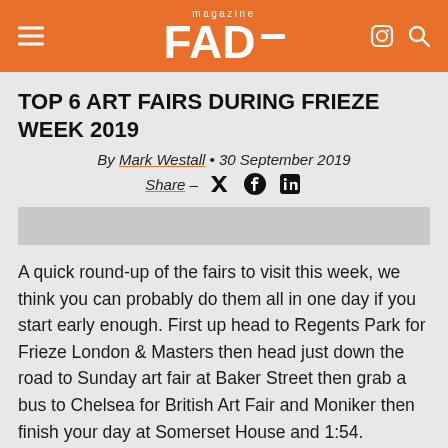FAD magazine
TOP 6 ART FAIRS DURING FRIEZE WEEK 2019
By Mark Westall • 30 September 2019
Share –
[Figure (photo): Gray image placeholder banner]
A quick round-up of the fairs to visit this week, we think you can probably do them all in one day if you start early enough. First up head to Regents Park for Frieze London & Masters then head just down the road to Sunday art fair at Baker Street then grab a bus to Chelsea for British Art Fair and Moniker then finish your day at Somerset House and 1:54.